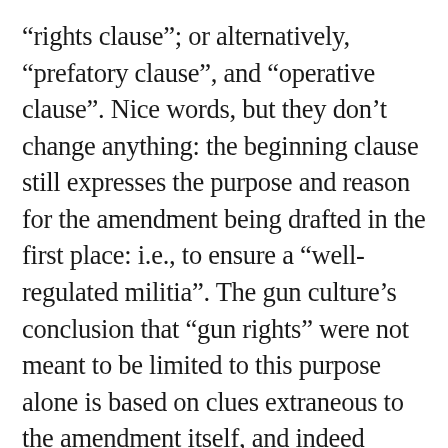“rights clause”; or alternatively, “prefatory clause”, and “operative clause”. Nice words, but they don’t change anything: the beginning clause still expresses the purpose and reason for the amendment being drafted in the first place: i.e., to ensure a “well-regulated militia”. The gun culture’s conclusion that “gun rights” were not meant to be limited to this purpose alone is based on clues extraneous to the amendment itself, and indeed extraneous to the Constitution. (Incidentally, in strict grammarian usage, the two phrases referred to are not really